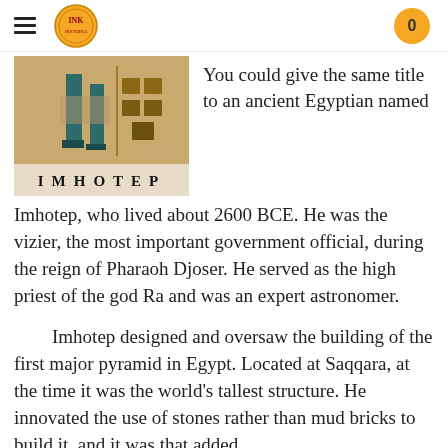INK (logo) | 0
[Figure (photo): Ancient Egyptian painting of Imhotep figure with hieroglyphs, labeled IMHOTEP at the bottom]
You could give the same title to an ancient Egyptian named Imhotep, who lived about 2600 BCE. He was the vizier, the most important government official, during the reign of Pharaoh Djoser. He served as the high priest of the god Ra and was an expert astronomer.
Imhotep designed and oversaw the building of the first major pyramid in Egypt. Located at Saqqara, at the time it was the world's tallest structure. He innovated the use of stones rather than mud bricks to build it, and it was that added